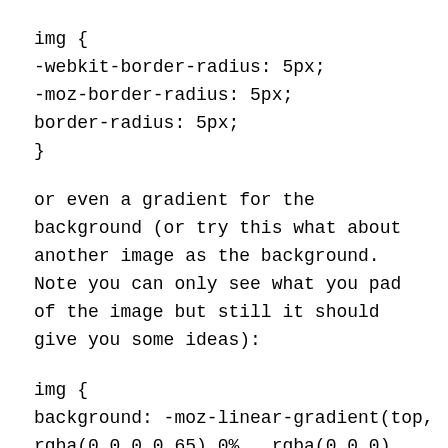img {
-webkit-border-radius: 5px;
-moz-border-radius: 5px;
border-radius: 5px;
}
or even a gradient for the background (or try this what about another image as the background. Note you can only see what you pad of the image but still it should give you some ideas):
img {
background: -moz-linear-gradient(top,
rgba(0,0,0,0.65) 0%, rgba(0,0,0)
100%); /* t 550-0: */